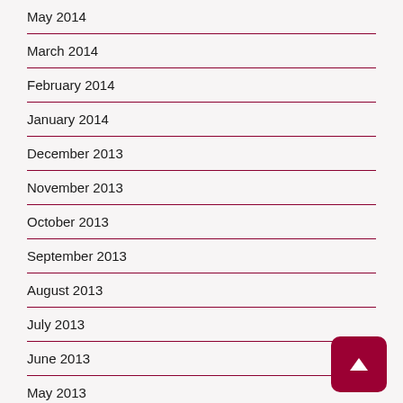May 2014
March 2014
February 2014
January 2014
December 2013
November 2013
October 2013
September 2013
August 2013
July 2013
June 2013
May 2013